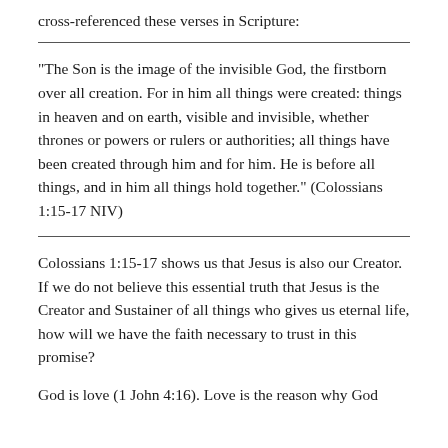cross-referenced these verses in Scripture:
“The Son is the image of the invisible God, the firstborn over all creation. For in him all things were created: things in heaven and on earth, visible and invisible, whether thrones or powers or rulers or authorities; all things have been created through him and for him. He is before all things, and in him all things hold together.” (Colossians 1:15-17 NIV)
Colossians 1:15-17 shows us that Jesus is also our Creator. If we do not believe this essential truth that Jesus is the Creator and Sustainer of all things who gives us eternal life, how will we have the faith necessary to trust in this promise?
God is love (1 John 4:16). Love is the reason why God